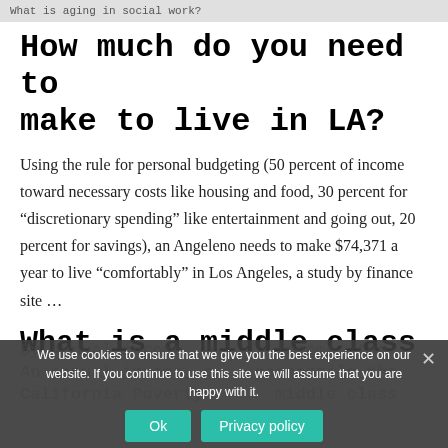What is aging in social work?
How much do you need to make to live in LA?
Using the rule for personal budgeting (50 percent of income toward necessary costs like housing and food, 30 percent for “discretionary spending” like entertainment and going out, 20 percent for savings), an Angeleno needs to make $74,371 a year to live “comfortably” in Los Angeles, a study by finance site …
What is a middle class
We use cookies to ensure that we give you the best experience on our website. If you continue to use this site we will assume that you are happy with it.
Ok   Privacy policy